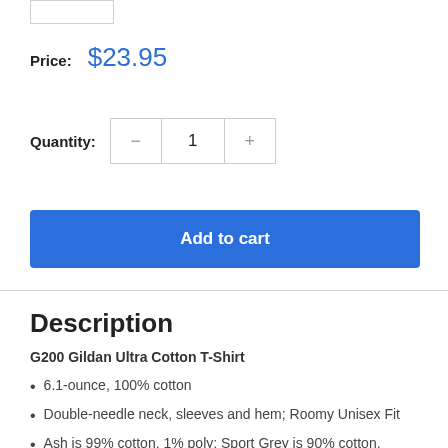Price: $23.95
Quantity: 1
Add to cart
Description
G200 Gildan Ultra Cotton T-Shirt
6.1-ounce, 100% cotton
Double-needle neck, sleeves and hem; Roomy Unisex Fit
Ash is 99% cotton, 1% poly; Sport Grey is 90% cotton,